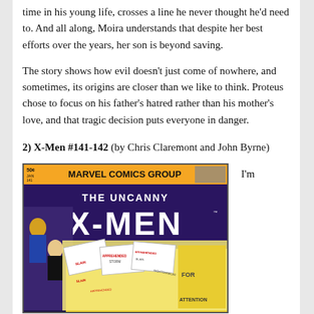time in his young life, crosses a line he never thought he'd need to. And all along, Moira understands that despite her best efforts over the years, her son is beyond saving.
The story shows how evil doesn't just come of nowhere, and sometimes, its origins are closer than we like to think. Proteus chose to focus on his father's hatred rather than his mother's love, and that tragic decision puts everyone in danger.
2) X-Men #141-142 (by Chris Claremont and John Byrne)
[Figure (photo): Cover of The Uncanny X-Men #141, Marvel Comics Group, showing characters with labels SLAIN, APPREHENDED. Price 50¢, Jan issue 141.]
I'm